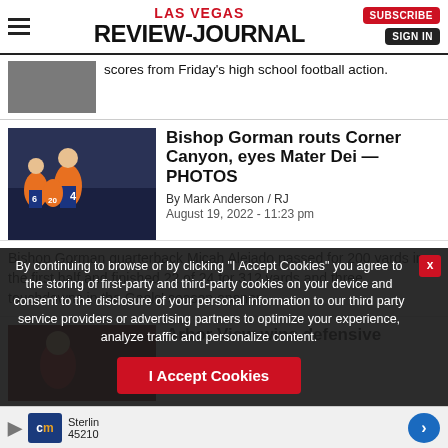LAS VEGAS REVIEW-JOURNAL
scores from Friday's high school football action.
Bishop Gorman routs Corner Canyon, eyes Mater Dei — PHOTOS
By Mark Anderson / RJ
August 19, 2022 - 11:23 pm
Bishop Gorman quarterback Micah Alejado passed for 200 yards in the first half and finished 22 of 24 for 312 yards and three touchdowns in the Gaels' season opener.
Arbor View wins defensive
By continuing to browse or by clicking "I Accept Cookies" you agree to the storing of first-party and third-party cookies on your device and consent to the disclosure of your personal information to our third party service providers or advertising partners to optimize your experience, analyze traffic and personalize content.
I Accept Cookies